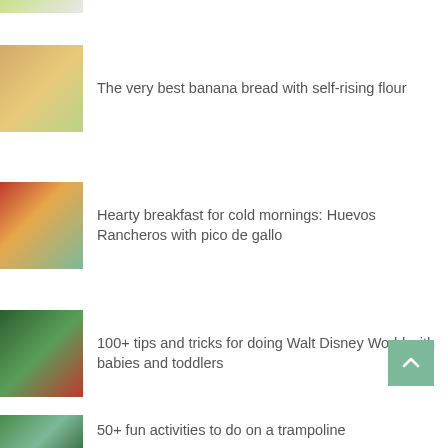(partial image at top)
The very best banana bread with self-rising flour
Hearty breakfast for cold mornings: Huevos Rancheros with pico de gallo
100+ tips and tricks for doing Walt Disney World with babies and toddlers
50+ fun activities to do on a trampoline